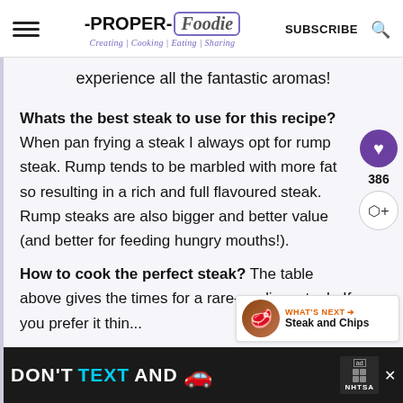-PROPER-Foodie | Creating | Cooking | Eating | Sharing
experience all the fantastic aromas!
Whats the best steak to use for this recipe? When pan frying a steak I always opt for rump steak. Rump tends to be marbled with more fat so resulting in a rich and full flavoured steak. Rump steaks are also bigger and better value (and better for feeding hungry mouths!).
How to cook the perfect steak? The table above gives the times for a rare-medium steak. If you prefer it thin...
[Figure (infographic): DON'T TEXT AND DRIVE advertisement banner with car emoji, ad badge and NHTSA logo]